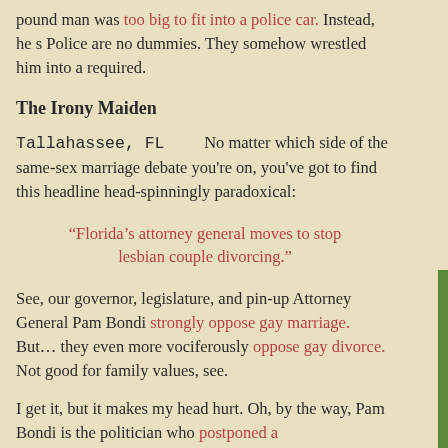pound man was too big to fit into a police car. Instead, he s Police are no dummies. They somehow wrestled him into a required.
The Irony Maiden
Tallahassee, FL   No matter which side of the same-sex marriage debate you're on, you've got to find this headline head-spinningly paradoxical:
“Florida’s attorney general moves to stop lesbian couple divorcing.”
See, our governor, legislature, and pin-up Attorney General Pam Bondi strongly oppose gay marriage. But… they even more vociferously oppose gay divorce. Not good for family values, see.
I get it, but it makes my head hurt. Oh, by the way, Pam Bondi is the politician who postponed a